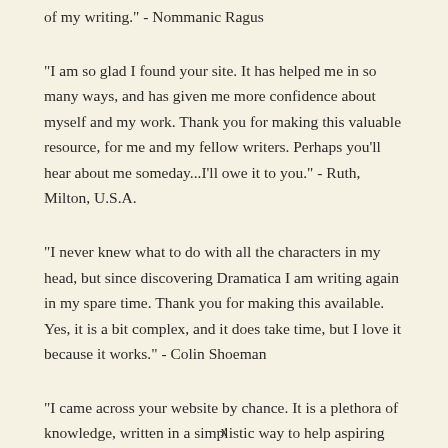of my writing." - Nommanic Ragus
"I am so glad I found your site. It has helped me in so many ways, and has given me more confidence about myself and my work. Thank you for making this valuable resource, for me and my fellow writers. Perhaps you'll hear about me someday...I'll owe it to you." - Ruth, Milton, U.S.A.
"I never knew what to do with all the characters in my head, but since discovering Dramatica I am writing again in my spare time. Thank you for making this available. Yes, it is a bit complex, and it does take time, but I love it because it works." - Colin Shoeman
"I came across your website by chance. It is a plethora of knowledge, written in a simplistic way to help aspiring writers. I truly appreciate all of the information you have provided to help me successfully (relative term)
x